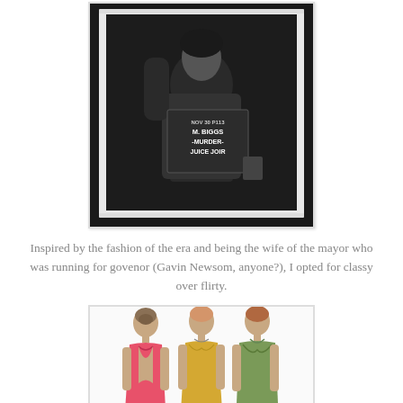[Figure (photo): Black and white photo of a woman holding a sign that reads 'NOV 30 P113 M. BIGGS -MURDER- JUICE JOINT', styled as a mugshot or period piece. The photo has a white border/frame.]
Inspired by the fashion of the era and being the wife of the mayor who was running for govenor (Gavin Newsom, anyone?), I opted for classy over flirty.
[Figure (illustration): Fashion illustrations showing three women in 1920s/1930s style dresses viewed from behind and side angles — one in pink/red with open back, one in gold/yellow, and one in green/olive.]